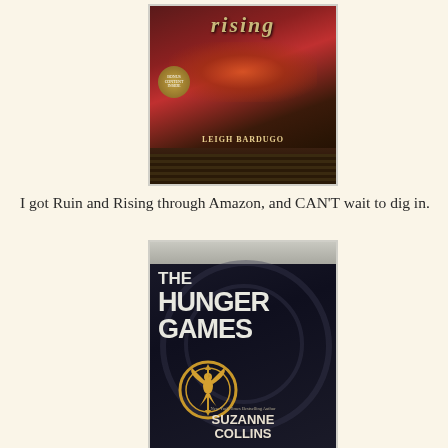[Figure (photo): Photo of the book 'Ruin and Rising' by Leigh Bardugo, showing the cover with dark red and flame imagery, sitting on a stack of books on a wooden surface.]
I got Ruin and Rising through Amazon, and CAN'T wait to dig in.
[Figure (photo): Photo of 'The Hunger Games' book by Suzanne Collins, showing the dark cover with the title in large white text, the Mockingjay pin emblem in gold, and the author's name at the bottom.]